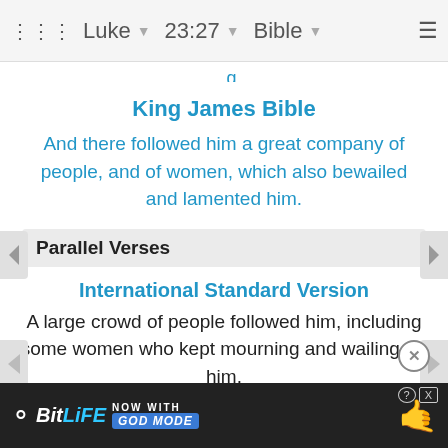Luke  23:27  Bible
...g
King James Bible
And there followed him a great company of people, and of women, which also bewailed and lamented him.
Parallel Verses
International Standard Version
A large crowd of people followed him, including some women who kept mourning and wailing for him.
American Standard Version
And there followed him a great